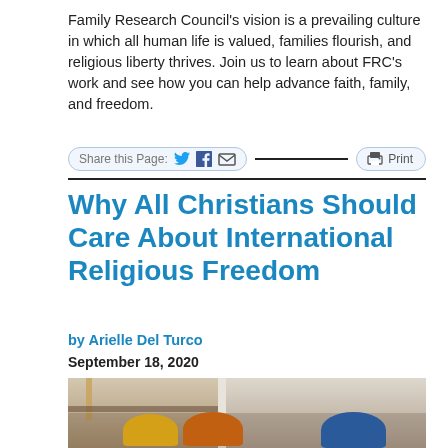Family Research Council's vision is a prevailing culture in which all human life is valued, families flourish, and religious liberty thrives. Join us to learn about FRC's work and see how you can help advance faith, family, and freedom.
[Figure (infographic): Share this Page bar with Twitter, Facebook, Email icons and a Print button]
Why All Christians Should Care About International Religious Freedom
by Arielle Del Turco
September 18, 2020
[Figure (photo): Women wearing colorful headscarves (yellow, orange, blue) in what appears to be a religious building interior with candlesticks visible]